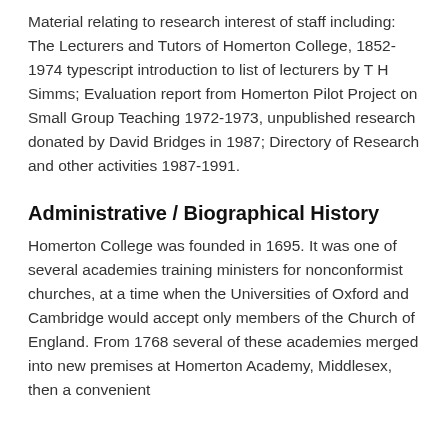Material relating to research interest of staff including: The Lecturers and Tutors of Homerton College, 1852-1974 typescript introduction to list of lecturers by T H Simms; Evaluation report from Homerton Pilot Project on Small Group Teaching 1972-1973, unpublished research donated by David Bridges in 1987; Directory of Research and other activities 1987-1991.
Administrative / Biographical History
Homerton College was founded in 1695. It was one of several academies training ministers for nonconformist churches, at a time when the Universities of Oxford and Cambridge would accept only members of the Church of England. From 1768 several of these academies merged into new premises at Homerton Academy, Middlesex, then a convenient